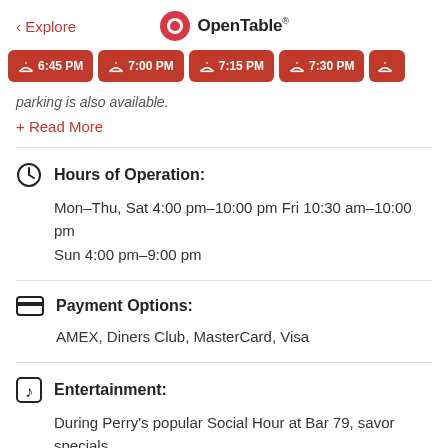< Explore   OpenTable
[Figure (screenshot): Time slot buttons: 6:45 PM, 7:00 PM, 7:15 PM, 7:30 PM, and partial next button]
parking is also available.
+ Read More
Hours of Operation:
Mon–Thu, Sat 4:00 pm–10:00 pm Fri 10:30 am–10:00 pm
Sun 4:00 pm–9:00 pm
Payment Options:
AMEX, Diners Club, MasterCard, Visa
Entertainment:
During Perry's popular Social Hour at Bar 79, savor specials